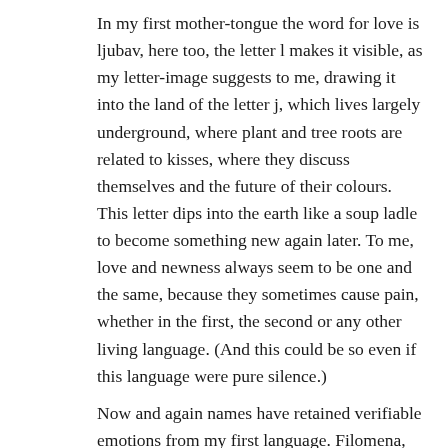In my first mother-tongue the word for love is ljubav, here too, the letter l makes it visible, as my letter-image suggests to me, drawing it into the land of the letter j, which lives largely underground, where plant and tree roots are related to kisses, where they discuss themselves and the future of their colours. This letter dips into the earth like a soup ladle to become something new again later. To me, love and newness always seem to be one and the same, because they sometimes cause pain, whether in the first, the second or any other living language. (And this could be so even if this language were pure silence.)
Now and again names have retained verifiable emotions from my first language. Filomena, for example, came to me, setting itself down like a suitcase, at the doors of the German language. This word wanted to live here and have a permanent address on my other side; it could be